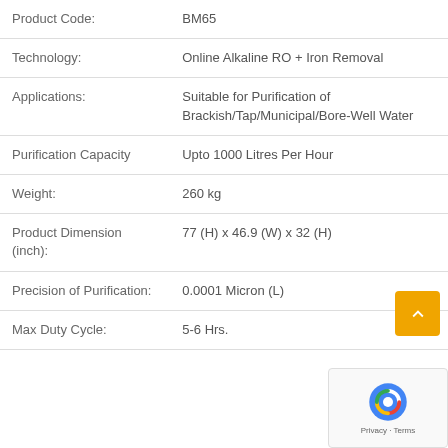| Attribute | Value |
| --- | --- |
| Product Code: | BM65 |
| Technology: | Online Alkaline RO + Iron Removal |
| Applications: | Suitable for Purification of Brackish/Tap/Municipal/Bore-Well Water |
| Purification Capacity | Upto 1000 Litres Per Hour |
| Weight: | 260 kg |
| Product Dimension (inch): | 77 (H) x 46.9 (W) x 32 (H) |
| Precision of Purification: | 0.0001 Micron (L) |
| Max Duty Cycle: | 5-6 Hrs. |